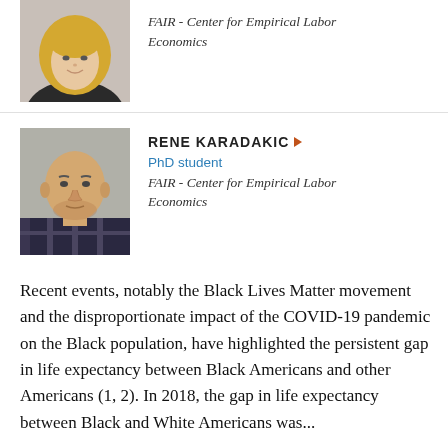[Figure (photo): Profile photo of a blonde woman, partially visible at top of page]
FAIR - Center for Empirical Labor Economics
[Figure (photo): Profile photo of a bald man with a beard wearing a plaid shirt]
RENE KARADAKIC
PhD student
FAIR - Center for Empirical Labor Economics
Recent events, notably the Black Lives Matter movement and the disproportionate impact of the COVID-19 pandemic on the Black population, have highlighted the persistent gap in life expectancy between Black Americans and other Americans (1, 2). In 2018, the gap in life expectancy between Black and White Americans was...